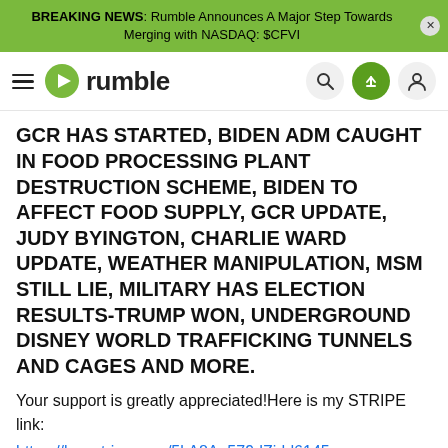BREAKING NEWS: Rumble Announces A Major Step Towards Merging with NASDAQ: $CFVI
[Figure (logo): Rumble video platform navigation bar with hamburger menu, Rumble logo (green play button icon and 'rumble' text), search icon, upload icon, and user account icon]
GCR HAS STARTED, BIDEN ADM CAUGHT IN FOOD PROCESSING PLANT DESTRUCTION SCHEME, BIDEN TO AFFECT FOOD SUPPLY, GCR UPDATE, JUDY BYINGTON, CHARLIE WARD UPDATE, WEATHER MANIPULATION, MSM STILL LIE, MILITARY HAS ELECTION RESULTS-TRUMP WON, UNDERGROUND DISNEY WORLD TRAFFICKING TUNNELS AND CAGES AND MORE.
Your support is greatly appreciated!Here is my STRIPE link:
https://buy.stripe.com/5kA8Au579dZidd6145